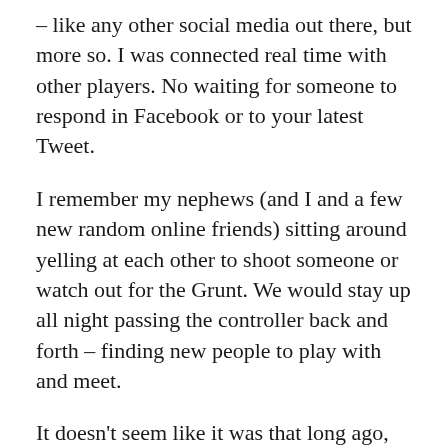– like any other social media out there, but more so.  I was connected real time with other players.  No waiting for someone to respond in Facebook or to your latest Tweet.
I remember my nephews (and I and a few new random online friends) sitting around yelling at each other to shoot someone or watch out for the Grunt. We would stay up all night passing the controller back and forth – finding new people to play with and meet.
It doesn't seem like it was that long ago, but it guess it was.  When I actually find a spare minute in between my new job and night school to sit down and go into a game and I rarely find anyone to play with.  Is it because we all grew up and there is no more time?  If I do find someone – nobody turns their microphones on